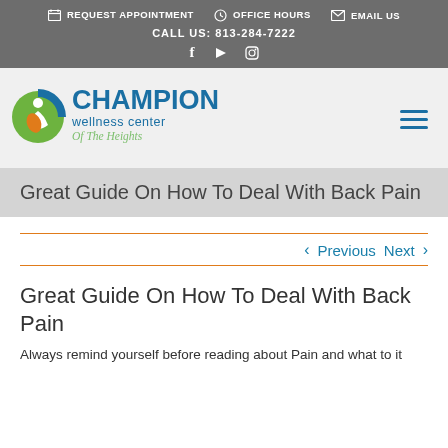REQUEST APPOINTMENT   OFFICE HOURS   EMAIL US
CALL US: 813-284-7222
[Figure (logo): Champion Wellness Center of The Heights logo with circular icon featuring green and orange shapes]
Great Guide On How To Deal With Back Pain
< Previous   Next >
Great Guide On How To Deal With Back Pain
Always remind yourself before reading about Pain and what to it...